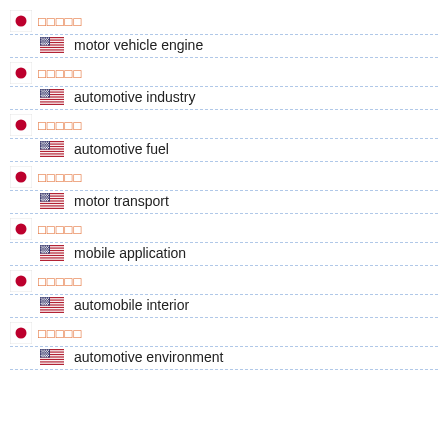日本語 / motor vehicle engine
日本語 / automotive industry
日本語 / automotive fuel
日本語 / motor transport
日本語 / mobile application
日本語 / automobile interior
日本語 / automotive environment